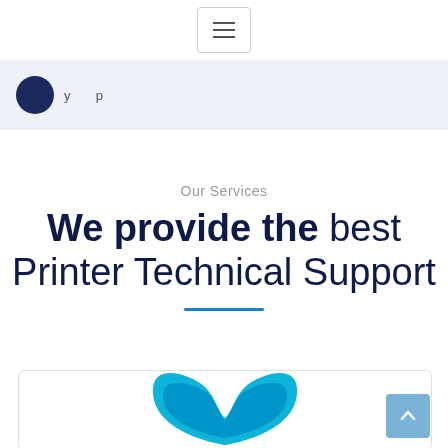[Figure (screenshot): Hamburger menu button (three horizontal lines) inside a rounded rectangle border, centered at top of page]
Our Services header strip with logo circle and partial logo text
Our Services
We provide the best Printer Technical Support
[Figure (logo): HP logo (cyan/blue partial arc shape) visible at bottom of page inside a card]